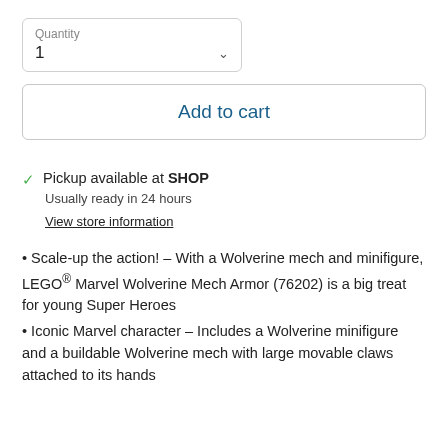Quantity
1
Add to cart
Pickup available at SHOP
Usually ready in 24 hours
View store information
Scale-up the action! – With a Wolverine mech and minifigure, LEGO® Marvel Wolverine Mech Armor (76202) is a big treat for young Super Heroes
Iconic Marvel character – Includes a Wolverine minifigure and a buildable Wolverine mech with large movable claws attached to its hands